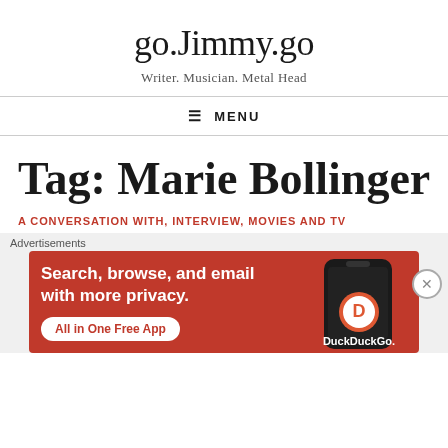go.Jimmy.go
Writer. Musician. Metal Head
☰ MENU
Tag: Marie Bollinger
A CONVERSATION WITH, INTERVIEW, MOVIES AND TV
[Figure (screenshot): DuckDuckGo advertisement banner with text: Search, browse, and email with more privacy. All in One Free App. Shows a smartphone with the DuckDuckGo logo.]